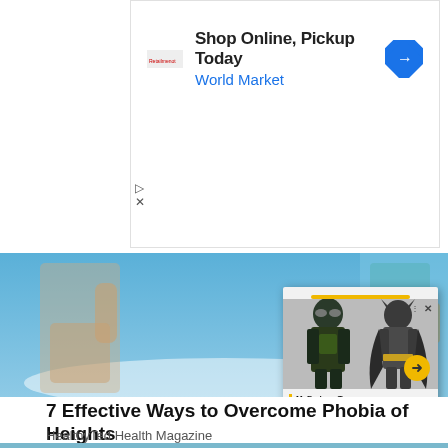[Figure (screenshot): Advertisement banner: 'Shop Online, Pickup Today / World Market' with navigation arrow icon and small logo on left]
[Figure (photo): Skydiving scene with person holding up one finger against blue sky, with popup overlay showing McFarlane Toys action figures (Green Arrow and Batman characters)]
McFarlane Toys announces 7-inch Injustice 2 Page Punch...
7 Effective Ways to Overcome Phobia of Heights
HealthyTed Health Magazine